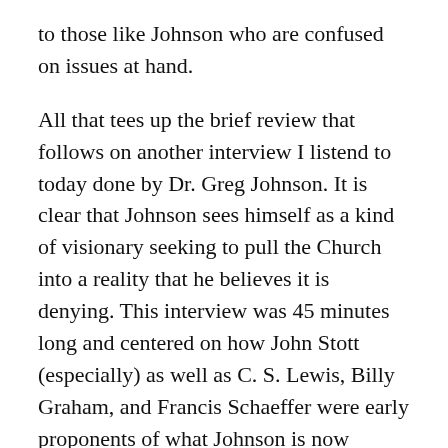to those like Johnson who are confused on issues at hand.
All that tees up the brief review that follows on another interview I listend to today done by Dr. Greg Johnson. It is clear that Johnson sees himself as a kind of visionary seeking to pull the Church into a reality that he believes it is denying. This interview was 45 minutes long and centered on how John Stott (especially) as well as C. S. Lewis, Billy Graham, and Francis Schaeffer were early proponents of what Johnson is now championing.
Now, we should note out of the gate that Lewis though at times intriguing and so sometimes